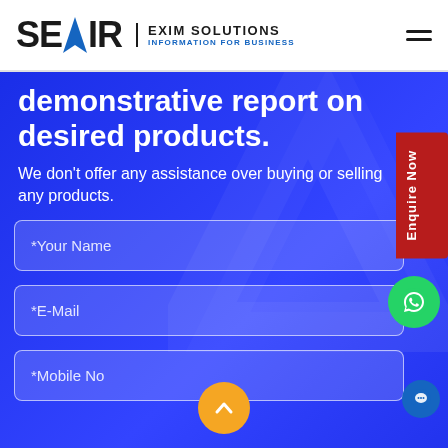[Figure (logo): SEAIR Exim Solutions logo with blue arrow/rocket between SE and IR, tagline INFORMATION FOR BUSINESS]
demonstrative report on desired products.
We don't offer any assistance over buying or selling any products.
*Your Name
*E-Mail
*Mobile No